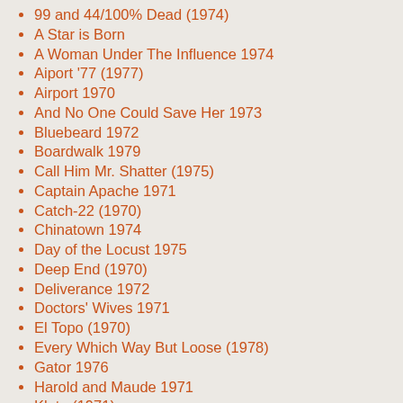99 and 44/100% Dead (1974)
A Star is Born
A Woman Under The Influence 1974
Aiport '77 (1977)
Airport 1970
And No One Could Save Her 1973
Bluebeard 1972
Boardwalk 1979
Call Him Mr. Shatter (1975)
Captain Apache 1971
Catch-22 (1970)
Chinatown 1974
Day of the Locust 1975
Deep End (1970)
Deliverance 1972
Doctors' Wives 1971
El Topo (1970)
Every Which Way But Loose (1978)
Gator 1976
Harold and Maude 1971
Klute (1971)
Last Tango in Paris 1972
Little Big Man 1970
Murder on the Orient Express 1974
On A Clear Day You Can See Forever 1970